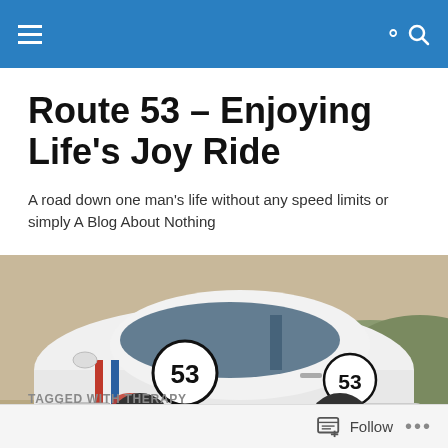Navigation bar with menu and search icons
Route 53 – Enjoying Life's Joy Ride
A road down one man's life without any speed limits or simply A Blog About Nothing
[Figure (photo): White VW New Beetle with number 53 racing stripes in red, white and blue on the rear quarter panel and door, parked on a dirt road with dry hills in background]
TAGGED WITH THERAPY
Follow  •••